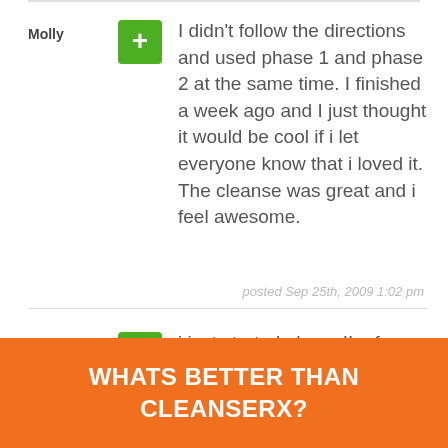Molly — I didn't follow the directions and used phase 1 and phase 2 at the same time. I finished a week ago and I just thought it would be cool if i let everyone know that i loved it. The cleanse was great and i feel awesome.
posted Sep 25th, 2009 1:02 pm
schappelle — i just started phase II a few days ago and i have to say it tastes pretty good. I mix it with really cold water and i don't mind drinking it. Feeling
WHATS BETTER THAN CLEANSERX?